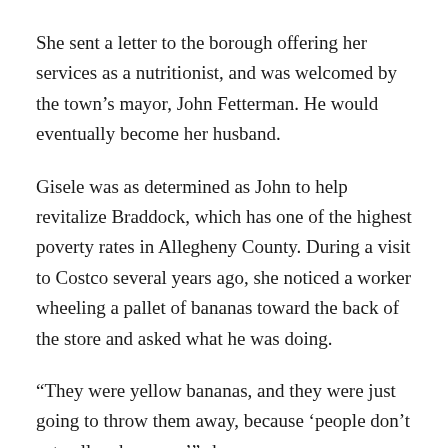She sent a letter to the borough offering her services as a nutritionist, and was welcomed by the town’s mayor, John Fetterman. He would eventually become her husband.
Gisele was as determined as John to help revitalize Braddock, which has one of the highest poverty rates in Allegheny County. During a visit to Costco several years ago, she noticed a worker wheeling a pallet of bananas toward the back of the store and asked what he was doing.
“They were yellow bananas, and they were just going to throw them away, because ‘people don’t eat yellow bananas,’” she says.
It was that experience that motivated Fetterman to start the Free Store 15104, a repurposed shipping container that